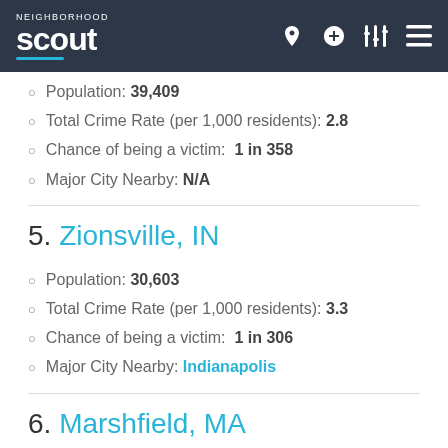Neighborhood Scout
Population: 39,409
Total Crime Rate (per 1,000 residents): 2.8
Chance of being a victim: 1 in 358
Major City Nearby: N/A
5. Zionsville, IN
Population: 30,603
Total Crime Rate (per 1,000 residents): 3.3
Chance of being a victim: 1 in 306
Major City Nearby: Indianapolis
6. Marshfield, MA